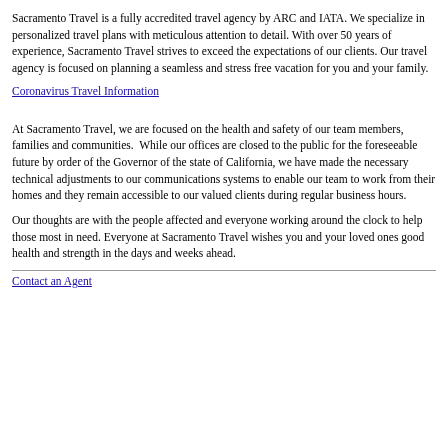Sacramento Travel is a fully accredited travel agency by ARC and IATA. We specialize in personalized travel plans with meticulous attention to detail. With over 50 years of experience, Sacramento Travel strives to exceed the expectations of our clients. Our travel agency is focused on planning a seamless and stress free vacation for you and your family.
Coronavirus Travel Information
At Sacramento Travel, we are focused on the health and safety of our team members, families and communities.  While our offices are closed to the public for the foreseeable future by order of the Governor of the state of California, we have made the necessary technical adjustments to our communications systems to enable our team to work from their homes and they remain accessible to our valued clients during regular business hours.
Our thoughts are with the people affected and everyone working around the clock to help those most in need. Everyone at Sacramento Travel wishes you and your loved ones good health and strength in the days and weeks ahead.
Contact an Agent